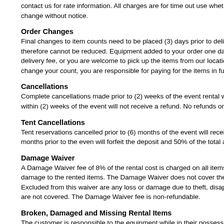contact us for rate information. All charges are for time out use whether returned or not. Rates are subject to change without notice.
Order Changes
Final changes to item counts need to be placed (3) days prior to delivery. Once an order is confirmed, item counts therefore cannot be reduced. Equipment added to your order one day before or day of delivery will include an additional delivery fee, or you are welcome to pick up the items from our location at no additional charge. If we are unable to change your count, you are responsible for paying for the items in full.
Cancellations
Complete cancellations made prior to (2) weeks of the event rental will receive a full refund. Cancellations made within (2) weeks of the event will not receive a refund. No refunds on deposits.
Tent Cancellations
Tent reservations cancelled prior to (6) months of the event will receive a full refund. Cancellations within (6) months prior to the even will forfeit the deposit and 50% of the total amount.
Damage Waiver
A Damage Waiver fee of 8% of the rental cost is charged on all items to cover accidental breakage and minor damage to the rented items. The Damage Waiver does not cover the full replacement cost of any damaged items. Excluded from this waiver are any loss or damage due to theft, disappearance, or mysterious circumstances which are not covered. The Damage Waiver fee is non-refundable.
Broken, Damaged and Missing Rental Items
The customer is responsible to the equipment while in their possession including damage from the weather.